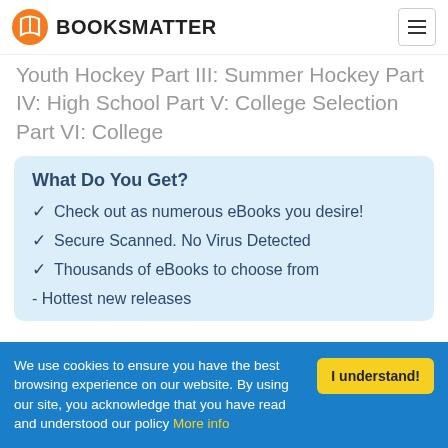BOOKSMATTER
Youth Hockey Part III: Summer Hockey Part IV: High School Part V: College Selection Part VI: College
What Do You Get?
Check out as numerous eBooks you desire!
Secure Scanned. No Virus Detected
Thousands of eBooks to choose from
- Hottest new releases
We use cookies to ensure you have the best browsing experience on our website. By using our site, you acknowledge that you have read and understood our policy More info